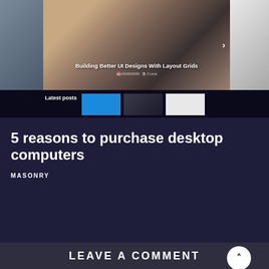[Figure (screenshot): Website carousel/slider showing fashion/lifestyle product images with center panel text 'Building Better UI Designs With Layout Grids' and right arrow navigation, plus a 'Latest posts' strip below with thumbnail images]
5 reasons to purchase desktop computers
MASONRY
LEAVE A COMMENT